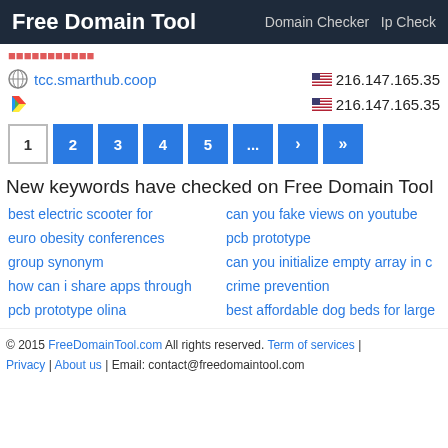Free Domain Tool   Domain Checker   Ip Check
tcc.smarthub.coop   216.147.165.35
216.147.165.35
Pagination: 1 2 3 4 5 ... › »
New keywords have checked on Free Domain Tool
best electric scooter for
can you fake views on youtube
euro obesity conferences
pcb prototype
group synonym
can you initialize empty array in c
how can i share apps through
crime prevention
pcb prototype olina
best affordable dog beds for large
© 2015 FreeDomainTool.com All rights reserved. Term of services | Privacy | About us | Email: contact@freedomaintool.com